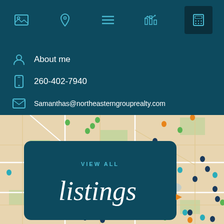[Figure (screenshot): Navigation bar with 5 icons: image, location pin, menu list, bar chart, calculator. The calculator icon is highlighted with a darker background.]
About me
260-402-7940
Samanthas@northeasterngrouprealty.com
[Figure (map): Street map of a city area with colored location pins (navy, teal, green, orange) scattered across it, and a dark teal overlay card in the center reading VIEW ALL listings with an orange arrow.]